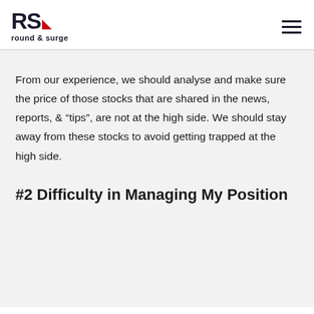[Figure (logo): Round & Surge logo with RS letters and red triangle, and hamburger menu icon]
From our experience, we should analyse and make sure the price of those stocks that are shared in the news, reports, & “tips”, are not at the high side. We should stay away from these stocks to avoid getting trapped at the high side.
#2 Difficulty in Managing My Position